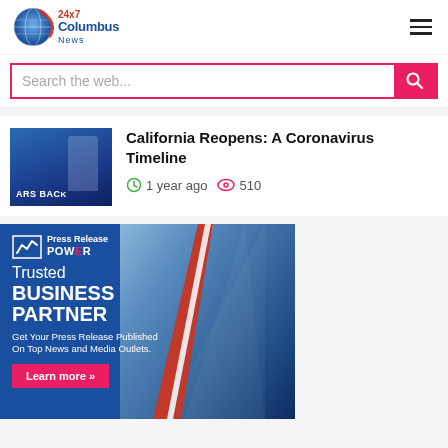24x7 Columbus News
Search the web...
California Reopens: A Coronavirus Timeline
1 year ago  510
[Figure (photo): Press Release POWER advertisement banner — Trusted BUSINESS PARTNER. Get Your Press Release Published On Top News and Media Outlets. Learn more >>]